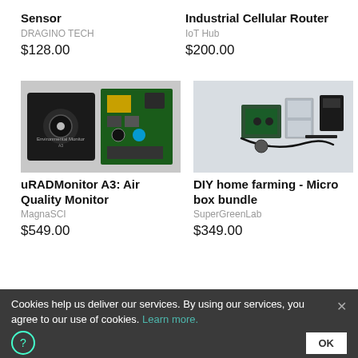Sensor
DRAGINO TECH
$128.00
Industrial Cellular Router
IoT Hub
$200.00
[Figure (photo): uRADMonitor A3 environmental monitor device - black enclosure and green circuit board]
uRADMonitor A3: Air Quality Monitor
MagnaSCI
$549.00
[Figure (photo): DIY home farming micro box bundle - components spread on white surface]
DIY home farming - Micro box bundle
SuperGreenLab
$349.00
Cookies help us deliver our services. By using our services, you agree to our use of cookies. Learn more. OK